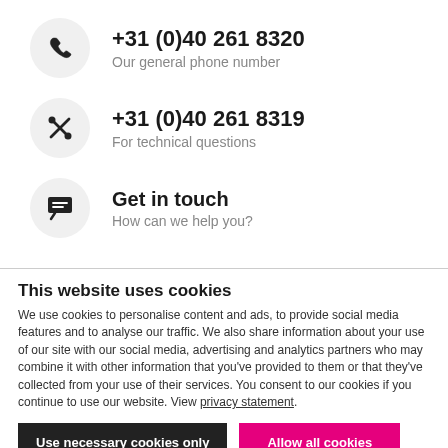+31 (0)40 261 8320 — Our general phone number
+31 (0)40 261 8319 — For technical questions
Get in touch — How can we help you?
This website uses cookies
We use cookies to personalise content and ads, to provide social media features and to analyse our traffic. We also share information about your use of our site with our social media, advertising and analytics partners who may combine it with other information that you've provided to them or that they've collected from your use of their services. You consent to our cookies if you continue to use our website. View privacy statement.
Use necessary cookies only
Allow all cookies
Show details